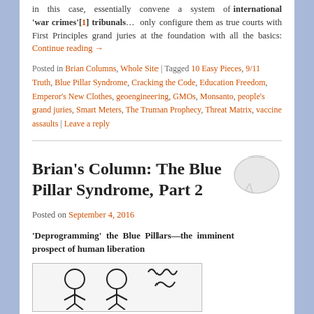in this case, essentially convene a system of international 'war crimes'[1] tribunals… only configure them as true courts with First Principles grand juries at the foundation with all the basics: Continue reading →
Posted in Brian Columns, Whole Site | Tagged 10 Easy Pieces, 9/11 Truth, Blue Pillar Syndrome, Cracking the Code, Education Freedom, Emperor's New Clothes, geoengineering, GMOs, Monsanto, people's grand juries, Smart Meters, The Truman Prophecy, Threat Matrix, vaccine assaults | Leave a reply
Brian's Column: The Blue Pillar Syndrome, Part 2
Posted on September 4, 2016
'Deprogramming' the Blue Pillars—the imminent prospect of human liberation
[Figure (illustration): Black and white illustration showing cartoon-style figures at the bottom of the page]